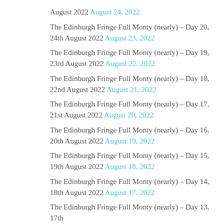August 2022 August 24, 2022
The Edinburgh Fringe Full Monty (nearly) – Day 20, 24th August 2022 August 23, 2022
The Edinburgh Fringe Full Monty (nearly) – Day 19, 23rd August 2022 August 22, 2022
The Edinburgh Fringe Full Monty (nearly) – Day 18, 22nd August 2022 August 21, 2022
The Edinburgh Fringe Full Monty (nearly) – Day 17, 21st August 2022 August 20, 2022
The Edinburgh Fringe Full Monty (nearly) – Day 16, 20th August 2022 August 19, 2022
The Edinburgh Fringe Full Monty (nearly) – Day 15, 19th August 2022 August 18, 2022
The Edinburgh Fringe Full Monty (nearly) – Day 14, 18th August 2022 August 17, 2022
The Edinburgh Fringe Full Monty (nearly) – Day 13, 17th